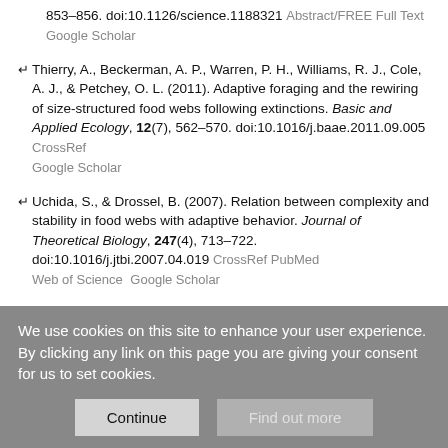853–856. doi:10.1126/science.1188321 Abstract/FREE Full Text Google Scholar
Thierry, A., Beckerman, A. P., Warren, P. H., Williams, R. J., Cole, A. J., & Petchey, O. L. (2011). Adaptive foraging and the rewiring of size-structured food webs following extinctions. Basic and Applied Ecology, 12(7), 562–570. doi:10.1016/j.baae.2011.09.005 CrossRef Google Scholar
Uchida, S., & Drossel, B. (2007). Relation between complexity and stability in food webs with adaptive behavior. Journal of Theoretical Biology, 247(4), 713–722. doi:10.1016/j.jtbi.2007.04.019 CrossRef PubMed Web of Science Google Scholar
Underwood, N., Inouye, B. D., & Hambäck, P. A. (2014). A Conceptual Framework for Associational Effects: When Do Neighbors Matter and How Would We Know? The Quarterly Review of Biology, 89(1), 1–19.
We use cookies on this site to enhance your user experience. By clicking any link on this page you are giving your consent for us to set cookies.